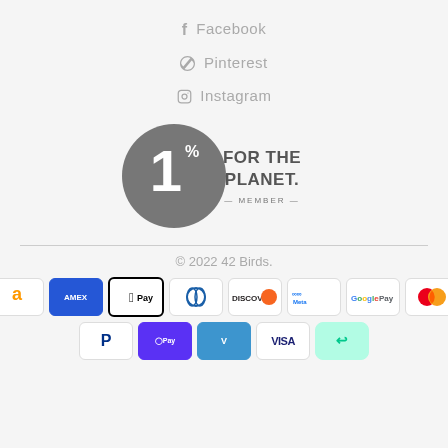Facebook
Pinterest
Instagram
[Figure (logo): 1% For The Planet Member logo — circular grey badge with '1%' and text 'FOR THE PLANET — MEMBER —']
© 2022 42 Birds.
[Figure (other): Payment method icons: Amazon, Amex, Apple Pay, Diners Club, Discover, Meta Pay, Google Pay, Mastercard, PayPal, Shop Pay, Venmo, Visa, Afterpay]